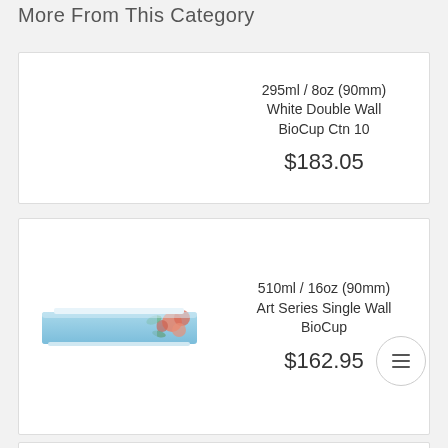More From This Category
295ml / 8oz (90mm) White Double Wall BioCup Ctn 10
$183.05
510ml / 16oz (90mm) Art Series Single Wall BioCup
$162.95